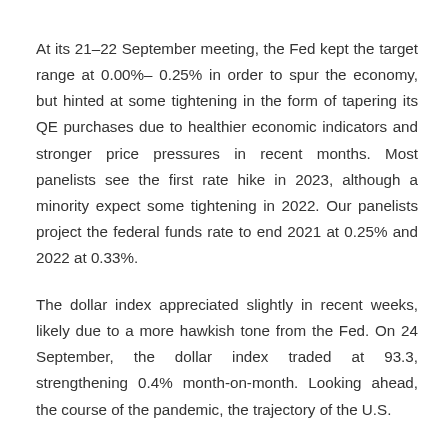At its 21–22 September meeting, the Fed kept the target range at 0.00%– 0.25% in order to spur the economy, but hinted at some tightening in the form of tapering its QE purchases due to healthier economic indicators and stronger price pressures in recent months. Most panelists see the first rate hike in 2023, although a minority expect some tightening in 2022. Our panelists project the federal funds rate to end 2021 at 0.25% and 2022 at 0.33%.
The dollar index appreciated slightly in recent weeks, likely due to a more hawkish tone from the Fed. On 24 September, the dollar index traded at 93.3, strengthening 0.4% month-on-month. Looking ahead, the course of the pandemic, the trajectory of the U.S.